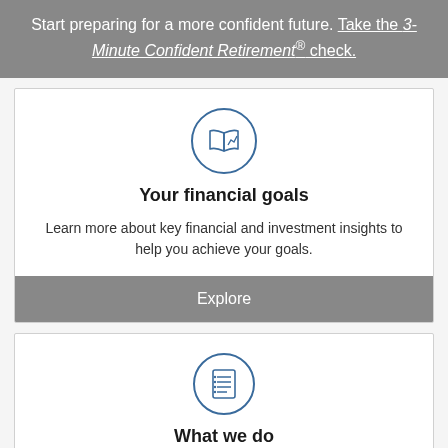Start preparing for a more confident future. Take the 3-Minute Confident Retirement® check.
[Figure (illustration): Blue circular icon showing an open map/book with a financial chart symbol inside]
Your financial goals
Learn more about key financial and investment insights to help you achieve your goals.
Explore
[Figure (illustration): Blue circular icon showing a checklist/document with bullet points inside]
What we do